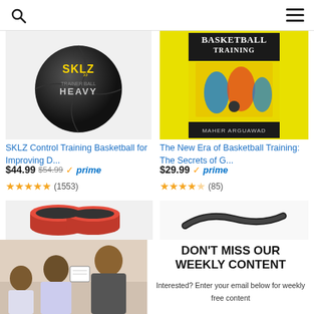Navigation bar with search and menu icons
[Figure (photo): SKLZ Control Training Basketball - black heavy training ball with SKLZ logo]
SKLZ Control Training Basketball for Improving D…
$44.99  $54.99  ✓prime  ★★★★★ (1553)
[Figure (photo): Book cover: Basketball Training - The New Era, by Maher Arguawad, yellow and black cover with players]
The New Era of Basketball Training: The Secrets of G…
$29.99  ✓prime  ★★★★☆ (85)
[Figure (photo): Red sliding discs training equipment product image]
[Figure (photo): Black resistance band or jump rope product image]
[Figure (photo): Coaching photo: basketball coach with two young players in gym]
DON'T MISS OUR WEEKLY CONTENT
Interested? Enter your email below for weekly free content